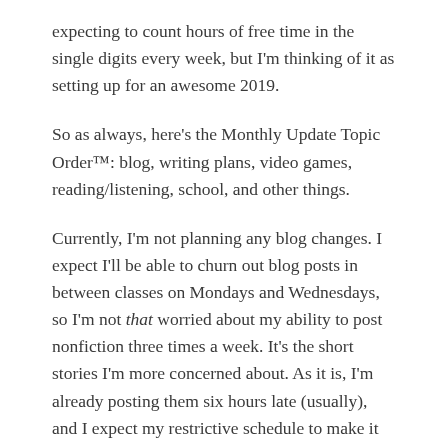expecting to count hours of free time in the single digits every week, but I'm thinking of it as setting up for an awesome 2019.
So as always, here's the Monthly Update Topic Order™: blog, writing plans, video games, reading/listening, school, and other things.
Currently, I'm not planning any blog changes. I expect I'll be able to churn out blog posts in between classes on Mondays and Wednesdays, so I'm not that worried about my ability to post nonfiction three times a week. It's the short stories I'm more concerned about. As it is, I'm already posting them six hours late (usually), and I expect my restrictive schedule to make it even harder to post those on time, if at all. So while I don't want to stop writing fiction for a few months, it might be an